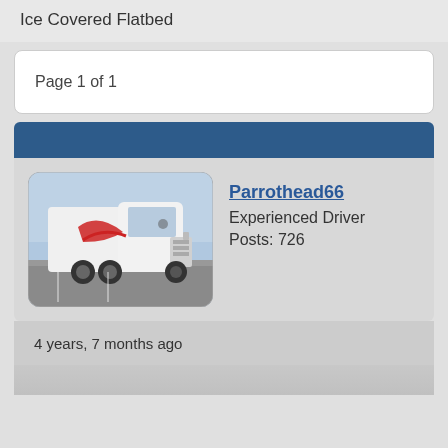Ice Covered Flatbed
Page 1 of 1
Parrothead66
Experienced Driver
Posts: 726
[Figure (photo): Photo of a white semi-truck (International) with red swoosh logo, parked in a lot at dusk/dawn]
4 years, 7 months ago